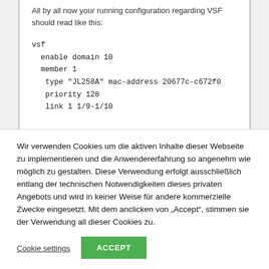All by all now your running configuration regarding VSF should read like this:
vsf
 enable domain 10
 member 1
  type "JL258A" mac-address 20677c-c672f0
  priority 128
  link 1 1/9-1/10
Wir verwenden Cookies um die aktiven Inhalte dieser Webseite zu implementieren und die Anwendererfahrung so angenehm wie möglich zu gestalten. Diese Verwendung erfolgt ausschließlich entlang der technischen Notwendigkeiten dieses privaten Angebots und wird in keiner Weise für andere kommerzielle Zwecke eingesetzt. Mit dem anclicken von „Accept“, stimmen sie der Verwendung all dieser Cookies zu.
Cookie settings
ACCEPT